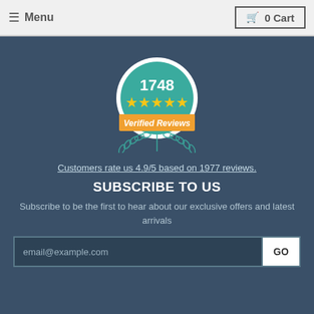☰ Menu | 🛒 0 Cart
[Figure (infographic): Circular badge with teal background showing '1748' in white text, five yellow stars, an orange ribbon banner with 'Verified Reviews' text, and teal laurel leaves at the bottom.]
Customers rate us 4.9/5 based on 1977 reviews.
SUBSCRIBE TO US
Subscribe to be the first to hear about our exclusive offers and latest arrivals
email@example.com | GO